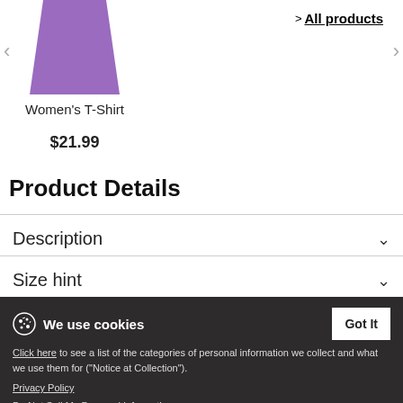[Figure (photo): Purple women's t-shirt product image shown from front, trapezoid shape]
Women's T-Shirt
$21.99
> All products
Product Details
Description
Size hint
Product Views
Customer feedback
Logo Right
We use cookies
Click here to see a list of the categories of personal information we collect and what we use them for ("Notice at Collection").
Privacy Policy
Do Not Sell My Personal Information
By using this website, I agree to the Terms and Conditions
Got It